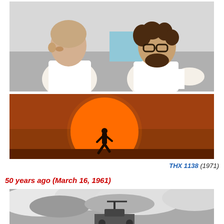[Figure (photo): Two men in white clothing sitting and talking; one bald, one with curly hair and glasses (appears to be a film scene or behind-the-scenes photo from THX 1138)]
[Figure (photo): Silhouette of a person walking in front of a large orange sun against a reddish-brown sky, from the film THX 1138 (1971)]
THX 1138 (1971)
50 years ago (March 16, 1961)
[Figure (photo): Black and white photo showing clouds and what appears to be a military vehicle or machine gun, partially visible at bottom]